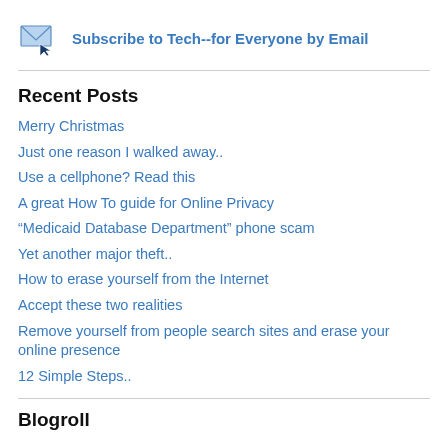[Figure (illustration): Email envelope icon with cursor arrow]
Subscribe to Tech--for Everyone by Email
Merry Christmas
Just one reason I walked away..
Use a cellphone? Read this
A great How To guide for Online Privacy
“Medicaid Database Department” phone scam
Yet another major theft..
How to erase yourself from the Internet
Accept these two realities
Remove yourself from people search sites and erase your online presence
12 Simple Steps..
Blogroll